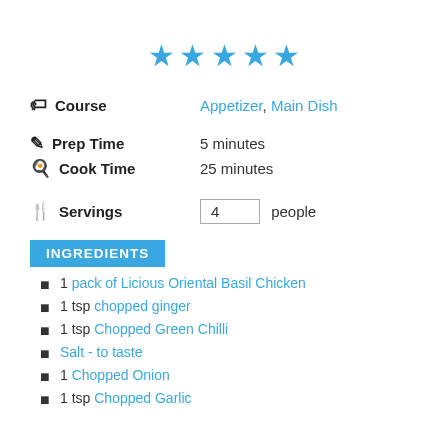[Figure (other): Five blue star rating icons]
Course   Appetizer, Main Dish
Prep Time   5 minutes
Cook Time   25 minutes
Servings   4 people
INGREDIENTS
1 pack of Licious Oriental Basil Chicken
1 tsp chopped ginger
1 tsp Chopped Green Chilli
Salt - to taste
1 Chopped Onion
1 tsp Chopped Garlic